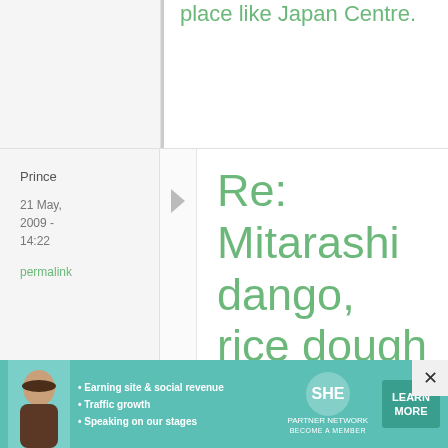place like Japan Centre.
Prince
21 May, 2009 - 14:22
permalink
Re: Mitarashi dango, rice dough dumplings with sweet-salty ...
I made some, it was
[Figure (photo): Advertisement banner for SHE Media Partner Network featuring a woman's photo, bullet points about earning site revenue, traffic growth, speaking on stages, SHE logo, and a Learn More button]